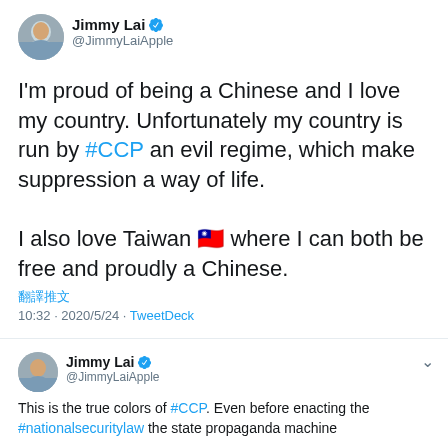[Figure (screenshot): Twitter profile avatar of Jimmy Lai, showing a photo of an older Asian man]
Jimmy Lai @JimmyLaiApple
I'm proud of being a Chinese and I love my country.  Unfortunately my country is run by #CCP an evil regime, which make suppression a way of life.

I also love Taiwan 🇹🇼 where I can both be free and proudly a Chinese.
翻譯推文
10:32 · 2020/5/24 · TweetDeck
[Figure (screenshot): Twitter profile avatar of Jimmy Lai, showing a photo of an older Asian man]
Jimmy Lai @JimmyLaiApple
This is the true colors of #CCP.  Even before enacting the #nationalsecuritylaw the state propaganda machine